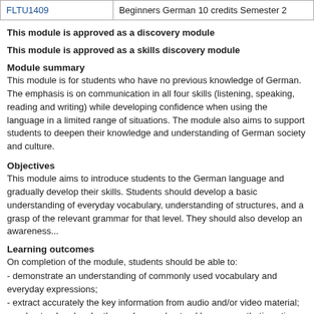|  |  |
| --- | --- |
| FLTU1409 | Beginners German 10 credits Semester 2 |
This module is approved as a discovery module
This module is approved as a skills discovery module
Module summary
This module is for students who have no previous knowledge of German. The emphasis is on communication in all four skills (listening, speaking, reading and writing) while developing confidence when using the language in a limited range of situations. The module also aims to support students to deepen their knowledge and understanding of German society and culture.
Objectives
This module aims to introduce students to the German language and gradually develop their skills. Students should develop a basic understanding of everyday vocabulary, understanding of structures, and a grasp of the relevant grammar for that level. They should also develop an awareness...
Learning outcomes
On completion of the module, students should be able to:
- demonstrate an understanding of commonly used vocabulary and everyday expre...
- extract accurately the key information from audio and/or video material;
- understand and make themselves understood by a sympathetic native speaker in...
- demonstrate some awareness of cultural and linguistic differences between the u...
- demonstrate a basic knowledge of grammar.